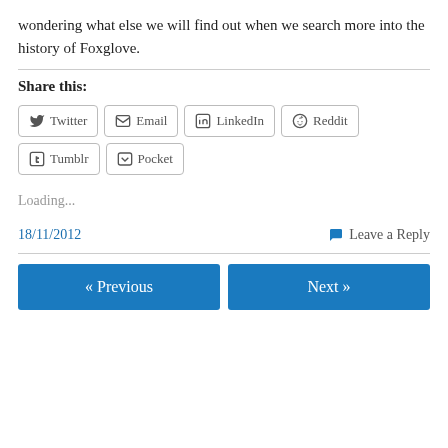wondering what else we will find out when we search more into the history of Foxglove.
Share this:
Twitter Email LinkedIn Reddit Tumblr Pocket
Loading...
18/11/2012
Leave a Reply
« Previous
Next »